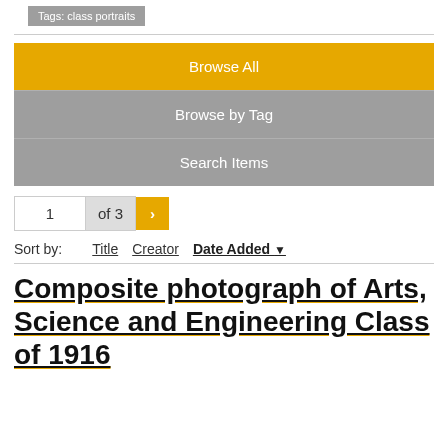Tags: class portraits
Browse All
Browse by Tag
Search Items
1 of 3 >
Sort by: Title Creator Date Added
Composite photograph of Arts, Science and Engineering Class of 1916